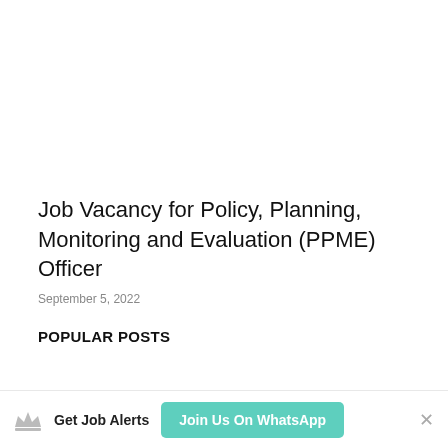Job Vacancy for Policy, Planning, Monitoring and Evaluation (PPME) Officer
September 5, 2022
POPULAR POSTS
Get Job Alerts   Join Us On WhatsApp